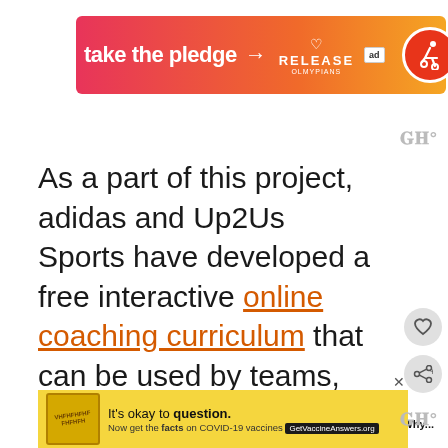[Figure (screenshot): Advertisement banner: 'take the pledge' with arrow pointing to RELEASE OLMYPIANS logo, ad badge, and wheelchair accessibility icon on orange-red gradient background]
As a part of this project, adidas and Up2Us Sports have developed a free interactive online coaching curriculum that can be used by teams, schools, leagues and parents anywhere to get a better understanding of reasons and ways to help girls succeed in sports.
[Figure (screenshot): Yellow advertisement banner: 'It's okay to question. Now get the facts on COVID-19 vaccines GetVaccineAnswers.org' with a stamp-like image on the left]